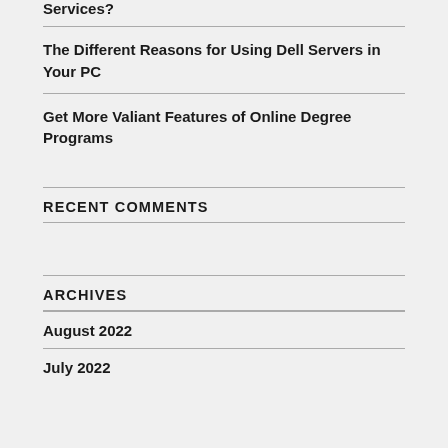Services?
The Different Reasons for Using Dell Servers in Your PC
Get More Valiant Features of Online Degree Programs
RECENT COMMENTS
ARCHIVES
August 2022
July 2022